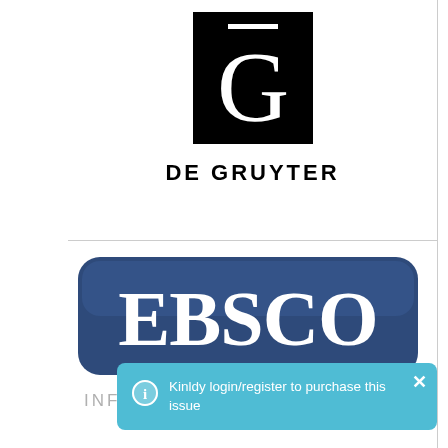[Figure (logo): De Gruyter publisher logo: black square with stylized overlined G, and text DE GRUYTER below]
[Figure (logo): EBSCO Information Services logo: rounded rectangle in dark blue with white EBSCO text, and INFORMATION SERVICES text below in light grey]
Kinldy login/register to purchase this issue